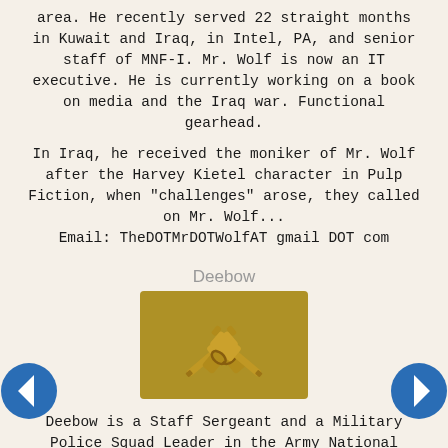area. He recently served 22 straight months in Kuwait and Iraq, in Intel, PA, and senior staff of MNF-I. Mr. Wolf is now an IT executive. He is currently working on a book on media and the Iraq war. Functional gearhead.

In Iraq, he received the moniker of Mr. Wolf after the Harvey Kietel character in Pulp Fiction, when "challenges" arose, they called on Mr. Wolf...
Email: TheDOTMrDOTWolfAT gmail DOT com
Deebow
[Figure (illustration): Crossed pistols / cavalry crossed sabers insignia in gold/brown on a tan background, military badge]
Deebow is a Staff Sergeant and a Military Police Squad Leader in the Army National Guard. In a previous life, he served in the US Navy. He has over 19 years of experience in both the Maritime and Land Warfare; including deployments to Southwest Asia, Thailand, the South Pacific, South America and Egypt. He has